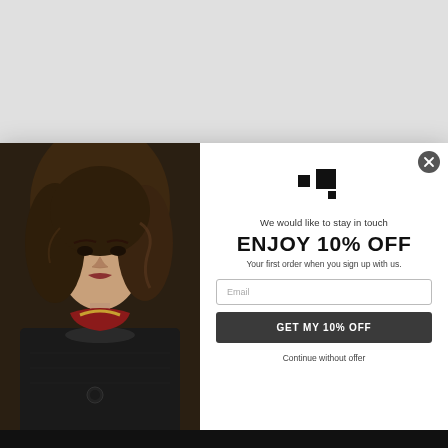[Figure (photo): Fashion model wearing dark top with decorative collar and floral scarf, portrait/editorial style photo]
[Figure (logo): Abstract logo mark composed of two black squares of different sizes plus a small square]
We would like to stay in touch
ENJOY 10% OFF
Your first order when you sign up with us.
Email
GET MY 10% OFF
Continue without offer